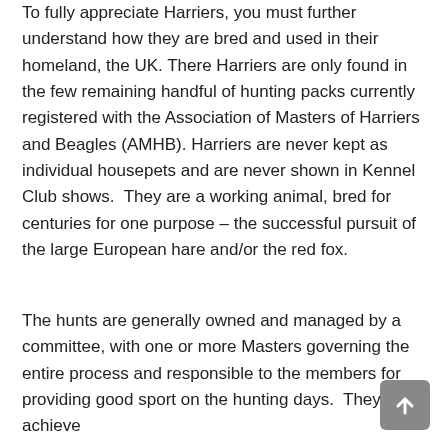To fully appreciate Harriers, you must further understand how they are bred and used in their homeland, the UK. There Harriers are only found in the few remaining handful of hunting packs currently registered with the Association of Masters of Harriers and Beagles (AMHB). Harriers are never kept as individual housepets and are never shown in Kennel Club shows.  They are a working animal, bred for centuries for one purpose – the successful pursuit of the large European hare and/or the red fox.
The hunts are generally owned and managed by a committee, with one or more Masters governing the entire process and responsible to the members for providing good sport on the hunting days.  They achieve